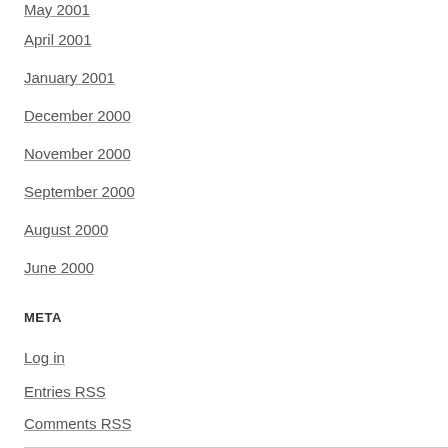May 2001
April 2001
January 2001
December 2000
November 2000
September 2000
August 2000
June 2000
META
Log in
Entries RSS
Comments RSS
WordPress.org